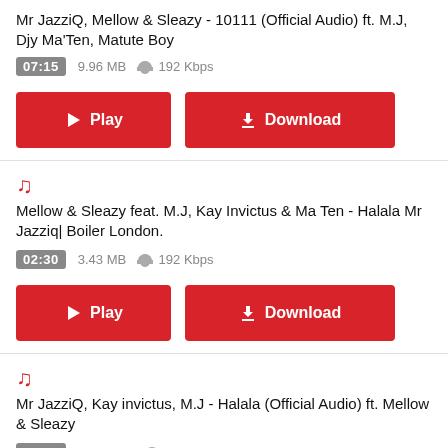Mr JazziQ, Mellow & Sleazy - 10111 (Official Audio) ft. M.J, Djy Ma'Ten, Matute Boy
07:15  9.96 MB  192 Kbps
[Figure (screenshot): Play and Download buttons (red) for first track]
[Figure (illustration): Music note icon (red)]
Mellow & Sleazy feat. M.J, Kay Invictus & Ma Ten - Halala Mr Jazziq| Boiler London.
02:30  3.43 MB  192 Kbps
[Figure (screenshot): Play and Download buttons (red) for second track]
[Figure (illustration): Music note icon (red)]
Mr JazziQ, Kay invictus, M.J - Halala (Official Audio) ft. Mellow & Sleazy
08:20  11.44 MB  192 Kbps